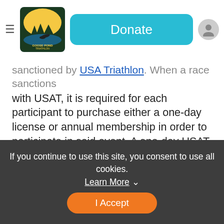Donate
sanctioned by USA Triathlon. When a race sanctions with USAT, it is required for each participant to purchase either a one-day license or annual membership in order to participate in said event. A one-day USAT license is $15 and an annual USAT membership is $50. Either can be purchased when signing up for the event. A youth one day or annual USAT license is $10. Click here to learn about your USAT benefits and where your member dollars go.
Age Groups and Awards: Overall awards for the top
If you continue to use this site, you consent to use all cookies. Learn More
I Accept